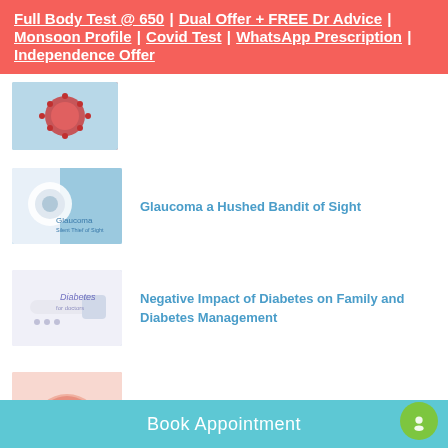Full Body Test @ 650 | Dual Offer + FREE Dr Advice | Monsoon Profile | Covid Test | WhatsApp Prescription | Independence Offer
[Figure (photo): Red/orange spiky virus or berry-like image on teal background]
[Figure (photo): Glaucoma eye test illustration with blue geometric shapes and eye chart]
Glaucoma a Hushed Bandit of Sight
[Figure (photo): Diabetes toothbrush illustration with miniature figures and white background]
Negative Impact of Diabetes on Family and Diabetes Management
[Figure (photo): Taste buds tongue anatomy illustration with pink tones]
Taste Buds - A Matter of Taste or Survival Need
Book Appointment